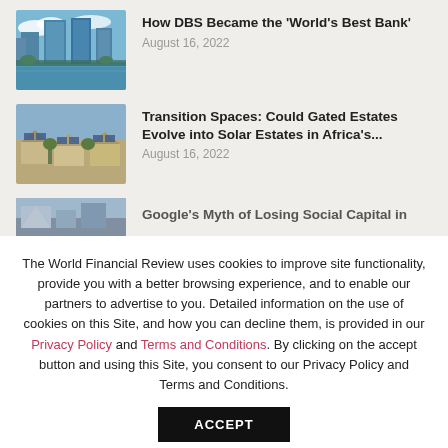[Figure (photo): Aerial/waterfront view of city skyscrapers with blue glass buildings]
How DBS Became the 'World's Best Bank'
August 16, 2022
[Figure (photo): Aerial view of residential neighborhood with solar panels on rooftops]
Transition Spaces: Could Gated Estates Evolve into Solar Estates in Africa's...
August 16, 2022
[Figure (photo): Partially visible image related to Google article]
Google's Myth of Losing Social Capital in
The World Financial Review uses cookies to improve site functionality, provide you with a better browsing experience, and to enable our partners to advertise to you. Detailed information on the use of cookies on this Site, and how you can decline them, is provided in our Privacy Policy and Terms and Conditions. By clicking on the accept button and using this Site, you consent to our Privacy Policy and Terms and Conditions.
ACCEPT